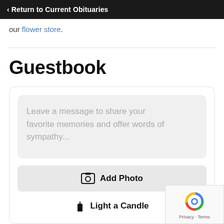‹ Return to Current Obituaries
our flower store.
Guestbook
Leave a message to share your favorite memories and offer words of sympathy...
Add Photo
Light a Candle